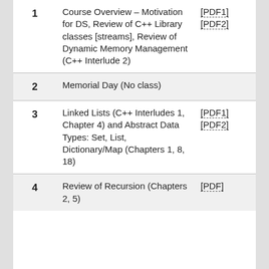| # | Topic | Slides | Reading |
| --- | --- | --- | --- |
| 1 | Course Overview – Motivation for DS, Review of C++ Library classes [streams], Review of Dynamic Memory Management (C++ Interlude 2) | [PDF1] [PDF2] | Chapters 1, 2, 3 |
| 2 | Memorial Day (No class) |  |  |
| 3 | Linked Lists (C++ Interludes 1, Chapter 4) and Abstract Data Types: Set, List, Dictionary/Map (Chapters 1, 8, 18) | [PDF1] [PDF2] | Chapters 5, 6 |
| 4 | Review of Recursion (Chapters 2, 5) | [PDF] | Chapter 4 |